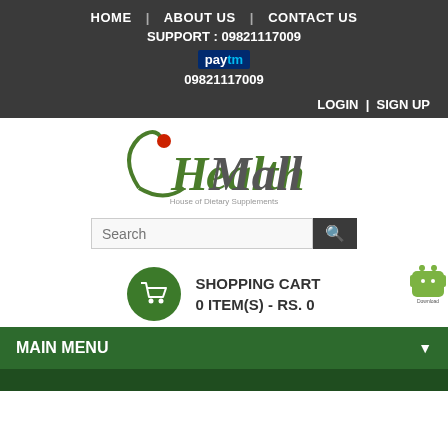HOME | ABOUT US | CONTACT US
SUPPORT : 09821117009
Paytm 09821117009
LOGIN | SIGN UP
[Figure (logo): Health Mall - House of Dietary Supplements logo with stylized figure and search bar]
SHOPPING CART
0 ITEM(S) - RS. 0
MAIN MENU
Home » RNA / DNA